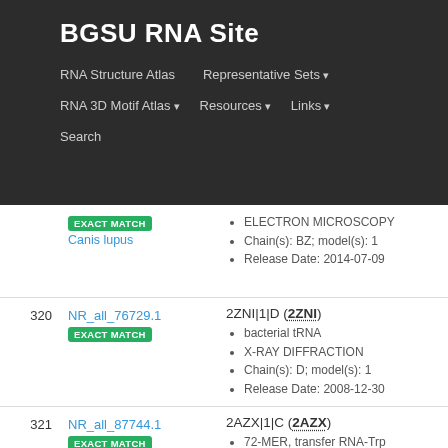BGSU RNA Site
RNA Structure Atlas | Representative Sets ▾ | RNA 3D Motif Atlas ▾ | Resources ▾ | Links ▾ | Search
| # | ID | Details |
| --- | --- | --- |
|  | NR_all_... [EXACT MATCH]
Canis lupus | ... rRNA
• ELECTRON MICROSCOPY
• Chain(s): BZ; model(s): 1
• Release Date: 2014-07-09 |
| 320 | NR_all_76729.1
EXACT MATCH | 2ZNI|1|D (2ZNI)
• bacterial tRNA
• X-RAY DIFFRACTION
• Chain(s): D; model(s): 1
• Release Date: 2008-12-30 |
| 321 | NR_all_87744.1
EXACT MATCH | 2AZX|1|C (2AZX)
• 72-MER, transfer RNA-Trp
• X-RAY DIFFRACTION
• Chain(s): C; model(s): 1
• Release Date: 2006-08-01 |